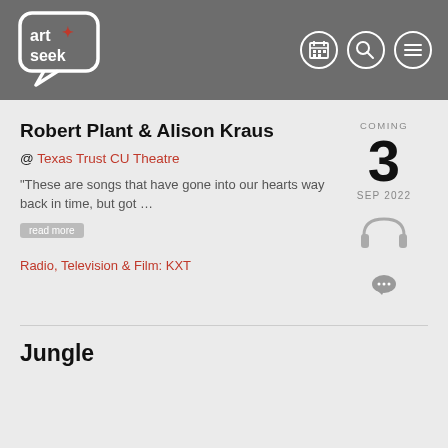[Figure (logo): ArtSeek logo - white speech bubble with 'art seek' text and red star, on grey header background]
Robert Plant & Alison Kraus
@ Texas Trust CU Theatre
“These are songs that have gone into our hearts way back in time, but got …
COMING
3
SEP 2022
Radio, Television & Film: KXT
Jungle